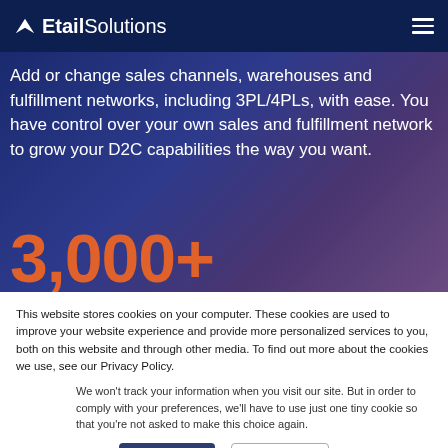Etail Solutions
Add or change sales channels, warehouses and fulfillment networks, including 3PL/4PLs, with ease. You have control over your own sales and fulfillment network to grow your D2C capabilities the way you want.
3,000+
This website stores cookies on your computer. These cookies are used to improve your website experience and provide more personalized services to you, both on this website and through other media. To find out more about the cookies we use, see our Privacy Policy.
We won't track your information when you visit our site. But in order to comply with your preferences, we'll have to use just one tiny cookie so that you're not asked to make this choice again.